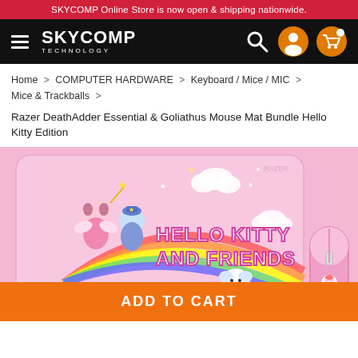SKYCOMP Online Store is now open & shipping nationwide.
[Figure (logo): SKYCOMP TECHNOLOGY logo with hamburger menu icon on black navigation bar, with search, user, and cart icons]
Home > COMPUTER HARDWARE > Keyboard / Mice / MIC > Mice & Trackballs >
Razer DeathAdder Essential & Goliathus Mouse Mat Bundle Hello Kitty Edition
[Figure (photo): Pink Hello Kitty and Friends themed Razer Goliathus mouse mat and DeathAdder Essential mouse bundle. The mat features Hello Kitty and Friends characters with colorful rainbow and stars on a pink background with text 'HELLO KITTY AND FRIENDS'.]
ADD TO CART